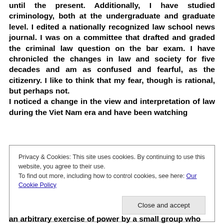until the present. Additionally, I have studied criminology, both at the undergraduate and graduate level. I edited a nationally recognized law school news journal. I was on a committee that drafted and graded the criminal law question on the bar exam. I have chronicled the changes in law and society for five decades and am as confused and fearful, as the citizenry. I like to think that my fear, though is rational, but perhaps not. I noticed a change in the view and interpretation of law during the Viet Nam era and have been watching
Privacy & Cookies: This site uses cookies. By continuing to use this website, you agree to their use. To find out more, including how to control cookies, see here: Our Cookie Policy
an arbitrary exercise of power by a small group who